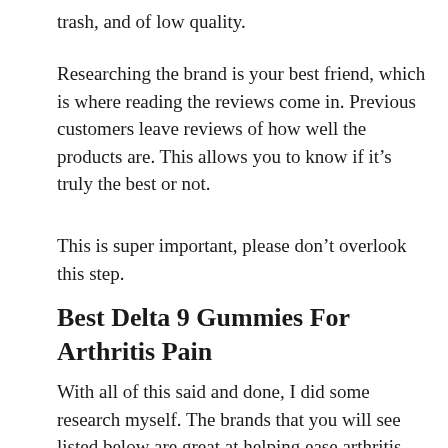trash, and of low quality.
Researching the brand is your best friend, which is where reading the reviews come in. Previous customers leave reviews of how well the products are. This allows you to know if it’s truly the best or not.
This is super important, please don’t overlook this step.
Best Delta 9 Gummies For Arthritis Pain
With all of this said and done, I did some research myself. The brands that you will see listed below are great at helping ease arthritis pain. With cold weather coming up, this will be a life saver for some